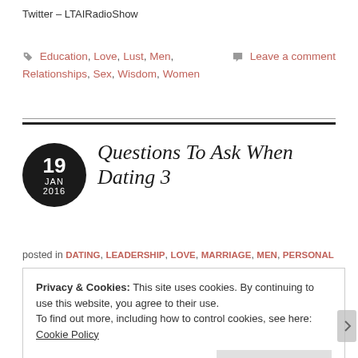Twitter – LTAIRadioShow
Education, Love, Lust, Men, Relationships, Sex, Wisdom, Women   Leave a comment
Questions To Ask When Dating 3
posted in DATING, LEADERSHIP, LOVE, MARRIAGE, MEN, PERSONAL
Privacy & Cookies: This site uses cookies. By continuing to use this website, you agree to their use.
To find out more, including how to control cookies, see here: Cookie Policy